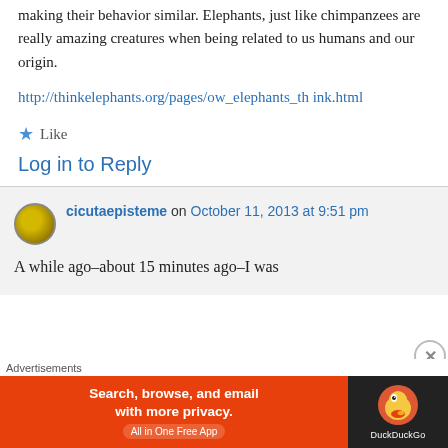making their behavior similar. Elephants, just like chimpanzees are really amazing creatures when being related to us humans and our origin.
http://thinkelephants.org/pages/ow_elephants_think.html
★ Like
Log in to Reply
cicutaepisteme on October 11, 2013 at 9:51 pm
A while ago–about 15 minutes ago–I was
[Figure (other): DuckDuckGo advertisement banner: orange left section with text 'Search, browse, and email with more privacy. All in One Free App' and dark right section with DuckDuckGo duck logo and brand name.]